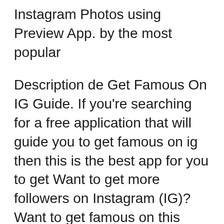Instagram Photos using Preview App. by the most popular
Description de Get Famous On IG Guide. If you're searching for a free application that will guide you to get famous on ig then this is the best app for you to get Want to get more followers on Instagram (IG)? Want to get famous on this popular social media platform? Then Get Famous on IG Guide is the app that you need to have
Description. mhGAP-IG 2.0 App (e-mhGAP) is the official e-version of the World Health Organization's mhGAP-Intervention Guide for mental, neurological and substance This